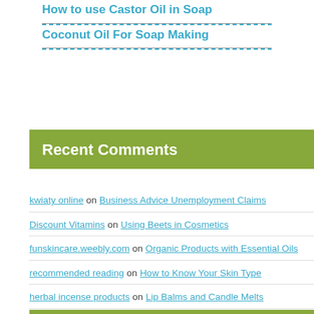How to use Castor Oil in Soap
Coconut Oil For Soap Making
Recent Comments
kwiaty online on Business Advice Unemployment Claims
Discount Vitamins on Using Beets in Cosmetics
funskincare.weebly.com on Organic Products with Essential Oils
recommended reading on How to Know Your Skin Type
herbal incense products on Lip Balms and Candle Melts